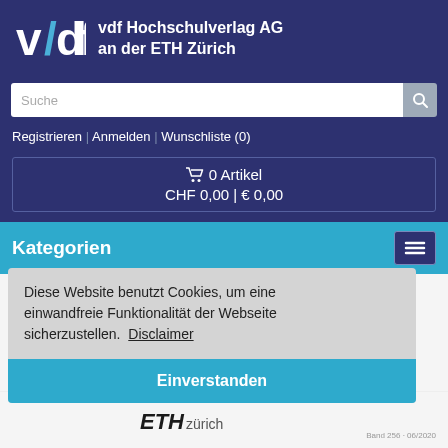[Figure (logo): vdf logo with stylized letters and text 'vdf Hochschulverlag AG an der ETH Zürich']
Suche
Registrieren | Anmelden | Wunschliste (0)
🛒 0 Artikel
CHF 0,00 | € 0,00
Kategorien
» Publikationen
» Naturwissenschaften, Umwelt und Technik
» Experimental investigations for the modelling of anhydritic swe...
Diese Website benutzt Cookies, um eine einwandfreie Funktionalität der Webseite sicherzustellen. Disclaimer
Einverstanden
[Figure (logo): ETH Zürich logo at bottom]